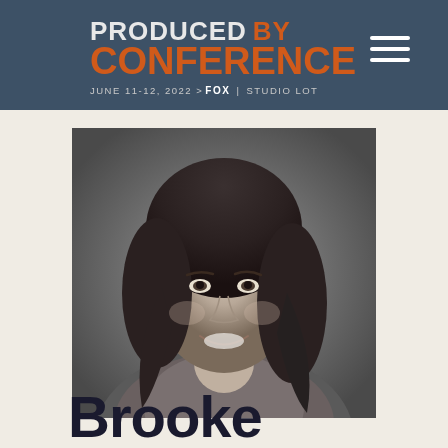PRODUCED BY CONFERENCE JUNE 11-12, 2022 > FOX | STUDIO LOT
[Figure (photo): Black and white professional headshot of a smiling woman with shoulder-length dark hair, wearing a collared shirt]
Brooke